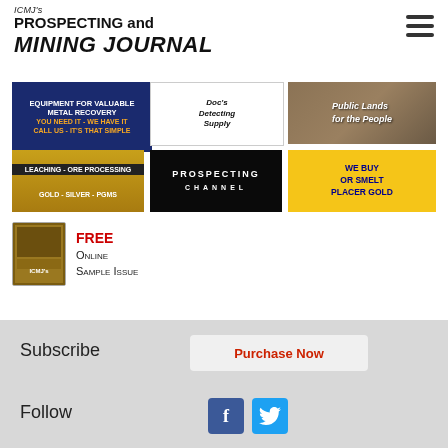ICMJ's PROSPECTING and MINING JOURNAL
[Figure (advertisement): Equipment for Valuable Metal Recovery ad - blue background with gold text]
[Figure (advertisement): Doc's Detecting Supply ad - white with silhouette figure and cactus]
[Figure (advertisement): Public Lands for the People ad - rocky background with italic text]
[Figure (advertisement): Leaching - Ore Processing Gold Silver PGMS ad - gold nuggets background]
[Figure (advertisement): Prospecting Channel ad - black background with white text]
[Figure (advertisement): We Buy or Smelt Placer Gold ad - yellow background with blue text]
[Figure (advertisement): FREE Online Sample Issue with magazine thumbnail]
Subscribe
Purchase Now
Follow